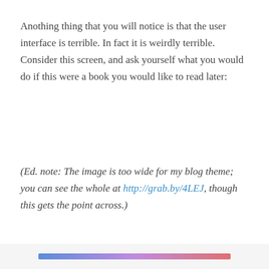Anothing thing that you will notice is that the user interface is terrible. In fact it is weirdly terrible. Consider this screen, and ask yourself what you would do if this were a book you would like to read later:
(Ed. note: The image is too wide for my blog theme; you can see the whole at http://grab.by/4LEJ, though this gets the point across.)
Privacy & Cookies: This site uses cookies. By continuing to use this website, you agree to their use.
To find out more, including how to control cookies, see here: Cookie Policy
Close and accept